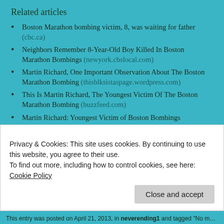Related articles
Boston Marathon bombing victim, 8, was waiting for father (cbc.ca)
Neighbors Remember 8-Year-Old Boy Killed In Boston Marathon Bombings (newyork.cbslocal.com)
Martin Richard, One Important Observation About The Boston Marathon Bombing (thisblksistaspage.wordpress.com)
This Is Martin Richard, The Youngest Victim Of The Boston Marathon Bombing (buzzfeed.com)
Martin Richard: Youngest Victim of Boston Bombings (on.aol.com)
Boy, 8, killed in Boston blast wrote, ‘No more hurting people’ (fox59.com)
Share this:
Facebook  Twitter  Reddit  LinkedIn
Privacy & Cookies: This site uses cookies. By continuing to use this website, you agree to their use.
To find out more, including how to control cookies, see here: Cookie Policy
Close and accept
This entry was posted on April 21, 2013, in neverending1 and tagged "No more